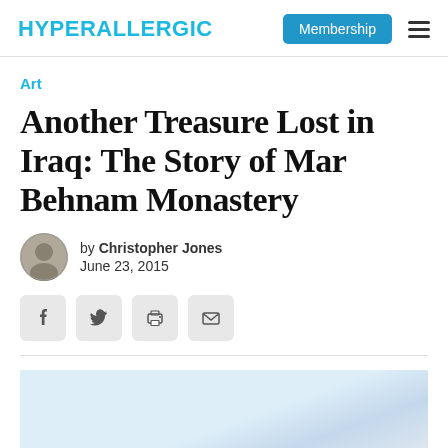HYPERALLERGIC | Membership
Art
Another Treasure Lost in Iraq: The Story of Mar Behnam Monastery
by Christopher Jones
June 23, 2015
[Figure (infographic): Social share buttons: Facebook, Twitter, Print, Email]
[Figure (photo): Partially visible photograph at bottom of page, light blue and white tones, likely sky or architectural image]